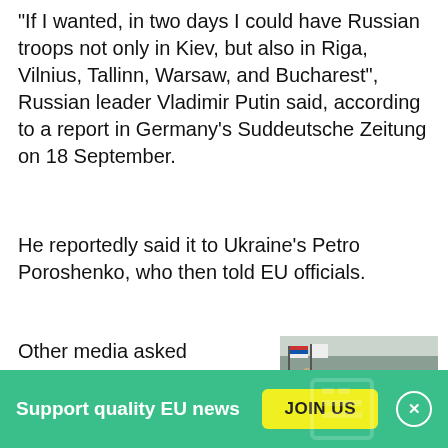“If I wanted, in two days I could have Russian troops not only in Kiev, but also in Riga, Vilnius, Tallinn, Warsaw, and Bucharest”, Russian leader Vladimir Putin said, according to a report in Germany’s Suddeutsche Zeitung on 18 September.
He reportedly said it to Ukraine’s Petro Poroshenko, who then told EU officials.
Other media asked Brussels, Kiev, and Moscow if Putin really made the threat, but they declined to confirm or
[Figure (photo): A man in dark suit walks in front of a line of naval officers in white uniforms, with flags visible in the background. Military review scene.]
Podvig: ‘The bluff seems to be
Support quality EU news
JOIN US